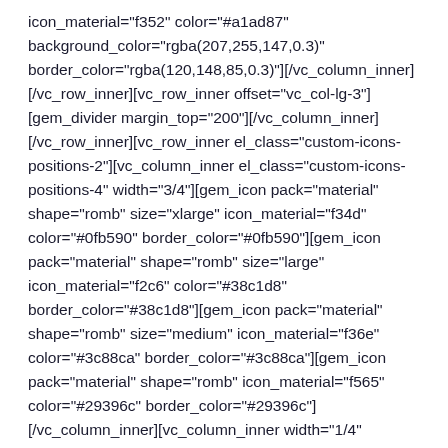icon_material="f352" color="#a1ad87" background_color="rgba(207,255,147,0.3)" border_color="rgba(120,148,85,0.3)"][/vc_column_inner][/vc_row_inner][vc_row_inner offset="vc_col-lg-3"][gem_divider margin_top="200"][/vc_column_inner][/vc_row_inner][vc_row_inner el_class="custom-icons-positions-2"][vc_column_inner el_class="custom-icons-positions-4" width="3/4"][gem_icon pack="material" shape="romb" size="xlarge" icon_material="f34d" color="#0fb590" border_color="#0fb590"][gem_icon pack="material" shape="romb" size="large" icon_material="f2c6" color="#38c1d8" border_color="#38c1d8"][gem_icon pack="material" shape="romb" size="medium" icon_material="f36e" color="#3c88ca" border_color="#3c88ca"][gem_icon pack="material" shape="romb" icon_material="f565" color="#29396c" border_color="#29396c"][/vc_column_inner][vc_column_inner width="1/4"